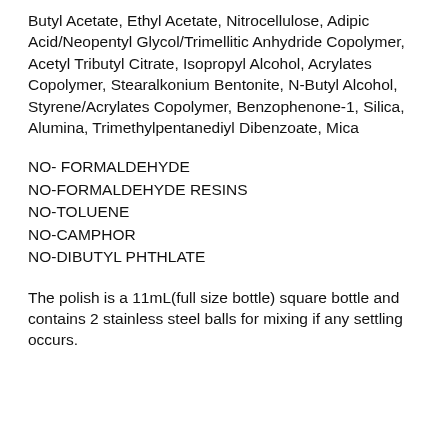Butyl Acetate, Ethyl Acetate, Nitrocellulose, Adipic Acid/Neopentyl Glycol/Trimellitic Anhydride Copolymer, Acetyl Tributyl Citrate, Isopropyl Alcohol, Acrylates Copolymer, Stearalkonium Bentonite, N-Butyl Alcohol, Styrene/Acrylates Copolymer, Benzophenone-1, Silica, Alumina, Trimethylpentanediyl Dibenzoate, Mica
NO- FORMALDEHYDE
NO-FORMALDEHYDE RESINS
NO-TOLUENE
NO-CAMPHOR
NO-DIBUTYL PHTHLATE
The polish is a 11mL(full size bottle) square bottle and contains 2 stainless steel balls for mixing if any settling occurs.